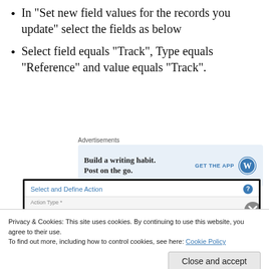In “Set new field values for the records you update” select the fields as below
Select field equals “Track”, Type equals “Reference” and value equals “Track”.
[Figure (screenshot): Advertisement banner: Build a writing habit. Post on the go. GET THE APP with WordPress logo]
[Figure (screenshot): Select and Define Action dialog box showing Action Type field with a help icon and a close button]
Privacy & Cookies: This site uses cookies. By continuing to use this website, you agree to their use.
To find out more, including how to control cookies, see here: Cookie Policy
Close and accept